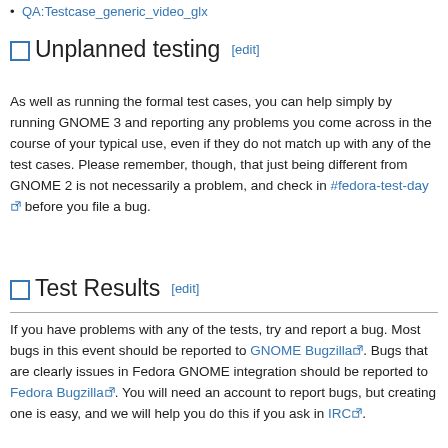QA:Testcase_generic_video_glx
Unplanned testing [edit]
As well as running the formal test cases, you can help simply by running GNOME 3 and reporting any problems you come across in the course of your typical use, even if they do not match up with any of the test cases. Please remember, though, that just being different from GNOME 2 is not necessarily a problem, and check in #fedora-test-day before you file a bug.
Test Results [edit]
If you have problems with any of the tests, try and report a bug. Most bugs in this event should be reported to GNOME Bugzilla. Bugs that are clearly issues in Fedora GNOME integration should be reported to Fedora Bugzilla. You will need an account to report bugs, but creating one is easy, and we will help you do this if you ask in IRC.